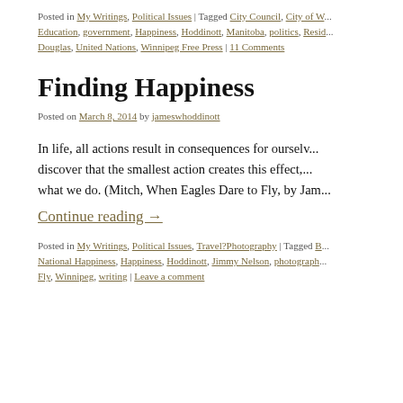Posted in My Writings, Political Issues | Tagged City Council, City of W... Education, government, Happiness, Hoddinott, Manitoba, politics, Resid... Douglas, United Nations, Winnipeg Free Press | 11 Comments
Finding Happiness
Posted on March 8, 2014 by jameswhoddinott
In life, all actions result in consequences for ourselv... discover that the smallest action creates this effect,... what we do. (Mitch, When Eagles Dare to Fly, by Jam...
Continue reading →
Posted in My Writings, Political Issues, Travel?Photography | Tagged B... National Happiness, Happiness, Hoddinott, Jimmy Nelson, photograph... Fly, Winnipeg, writing | Leave a comment